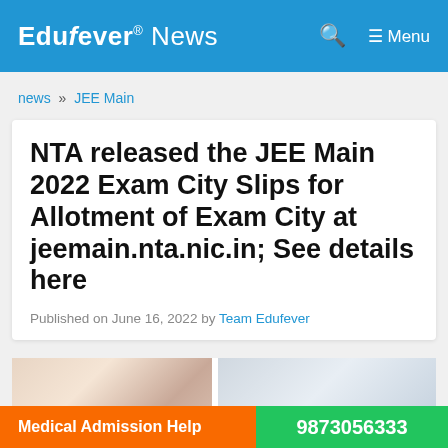Edufever® News  🔍  ☰ Menu
news » JEE Main
NTA released the JEE Main 2022 Exam City Slips for Allotment of Exam City at jeemain.nta.nic.in; See details here
Published on June 16, 2022 by Team Edufever
[Figure (photo): Two partial photo thumbnails side by side at the bottom of the article card]
Medical Admission Help  9873056333